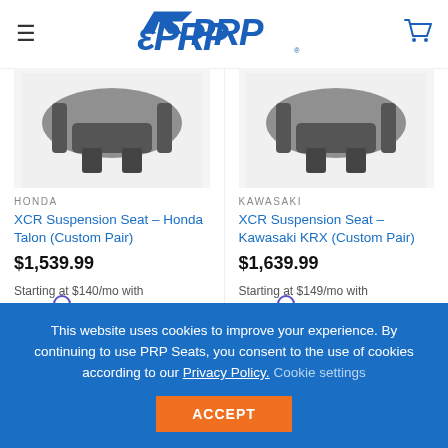[Figure (logo): PRP Seats logo in blue with hamburger menu icon on left and shopping cart icon on right]
[Figure (photo): XCR Suspension Seat Honda Talon product photo - dark colored seat hardware]
HONDA
XCR Suspension Seat – Honda Talon (Custom Pair)
$1,539.99
Starting at $140/mo with affirm. Learn more
[Figure (photo): XCR Suspension Seat Kawasaki KRX product photo - dark colored seat hardware]
KAWASAKI
XCR Suspension Seat – Kawasaki KRX (Custom Pair)
$1,639.99
Starting at $149/mo with affirm. Learn more
This website uses cookies to improve your experience. By continuing to use PRP Seats, you consent to the use of cookies according to our Privacy Policy. Cookie settings
ACCEPT